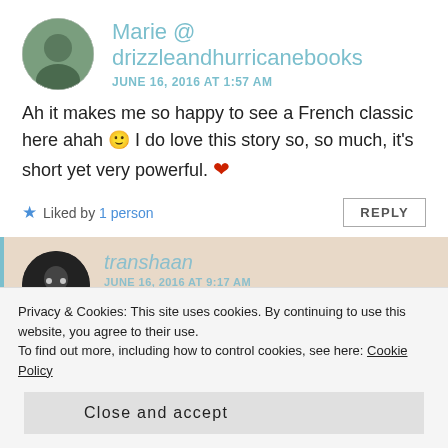Marie @ drizzleandhurricanebooks
JUNE 16, 2016 AT 1:57 AM
Ah it makes me so happy to see a French classic here ahah 🙂 I do love this story so, so much, it's short yet very powerful. ❤
★ Liked by 1person  REPLY
transhaan
JUNE 16, 2016 AT 9:17 AM
Privacy & Cookies: This site uses cookies. By continuing to use this website, you agree to their use.
To find out more, including how to control cookies, see here: Cookie Policy
Close and accept
them the spotlight with Bookaote. ❤